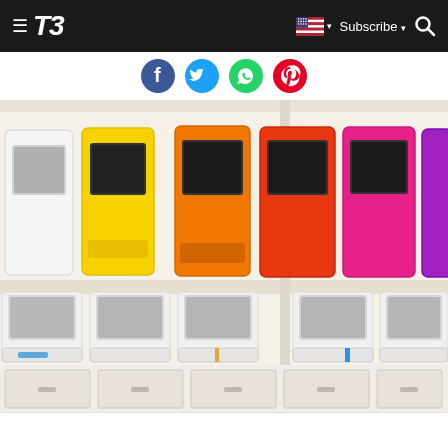T3 — Subscribe
[Figure (other): Social sharing icons: Facebook (blue), Twitter (light blue), WhatsApp (green), Pinterest (red)]
[Figure (photo): Two shelves of 3D printers in a showroom. Top shelf has colorful printers in white, yellow, orange, red, pink, and purple. Bottom shelf has white 3D printers (Cube-style). The shelving unit has white drawers at the bottom.]